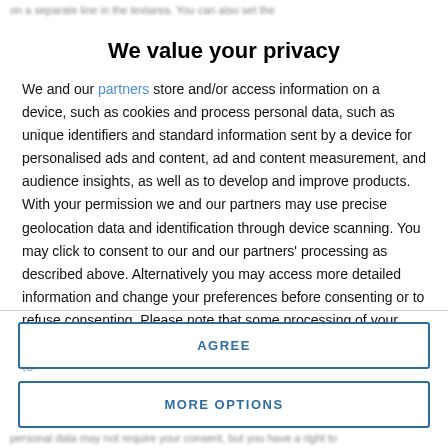on a separate line in the textarea. You can also set the
We value your privacy
We and our partners store and/or access information on a device, such as cookies and process personal data, such as unique identifiers and standard information sent by a device for personalised ads and content, ad and content measurement, and audience insights, as well as to develop and improve products. With your permission we and our partners may use precise geolocation data and identification through device scanning. You may click to consent to our and our partners' processing as described above. Alternatively you may access more detailed information and change your preferences before consenting or to refuse consenting. Please note that some processing of your personal data may not require your consent, but you have a right to
AGREE
MORE OPTIONS
personal data may not require your consent, but you have a right to